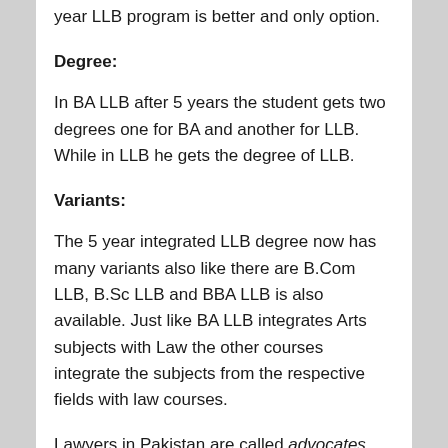year LLB program is better and only option.
Degree:
In BA LLB after 5 years the student gets two degrees one for BA and another for LLB. While in LLB he gets the degree of LLB.
Variants:
The 5 year integrated LLB degree now has many variants also like there are B.Com LLB, B.Sc LLB and BBA LLB is also available. Just like BA LLB integrates Arts subjects with Law the other courses integrate the subjects from the respective fields with law courses.
Lawyers in Pakistan are called advocates. An